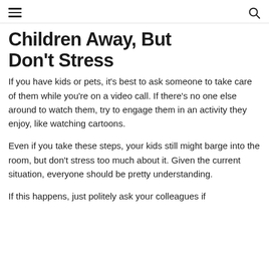menu / search
Children Away, But Don't Stress
If you have kids or pets, it's best to ask someone to take care of them while you're on a video call. If there's no one else around to watch them, try to engage them in an activity they enjoy, like watching cartoons.
Even if you take these steps, your kids still might barge into the room, but don't stress too much about it. Given the current situation, everyone should be pretty understanding.
If this happens, just politely ask your colleagues if